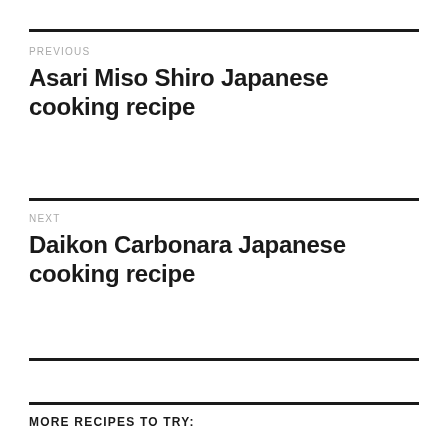PREVIOUS
Asari Miso Shiro Japanese cooking recipe
NEXT
Daikon Carbonara Japanese cooking recipe
MORE RECIPES TO TRY: